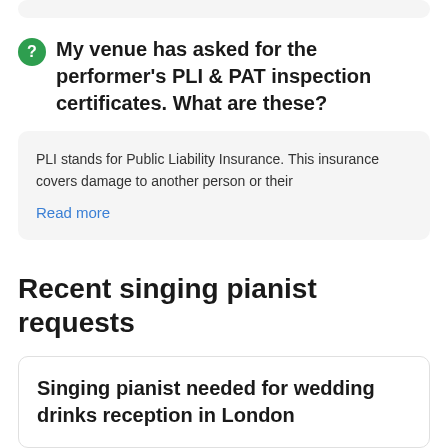My venue has asked for the performer's PLI & PAT inspection certificates. What are these?
PLI stands for Public Liability Insurance. This insurance covers damage to another person or their
Read more
Recent singing pianist requests
Singing pianist needed for wedding drinks reception in London